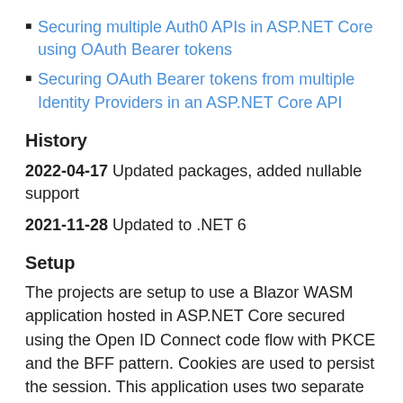Securing multiple Auth0 APIs in ASP.NET Core using OAuth Bearer tokens
Securing OAuth Bearer tokens from multiple Identity Providers in an ASP.NET Core API
History
2022-04-17 Updated packages, added nullable support
2021-11-28 Updated to .NET 6
Setup
The projects are setup to use a Blazor WASM application hosted in ASP.NET Core secured using the Open ID Connect code flow with PKCE and the BFF pattern. Cookies are used to persist the session. This application uses two separate APIs, a user data API and a service